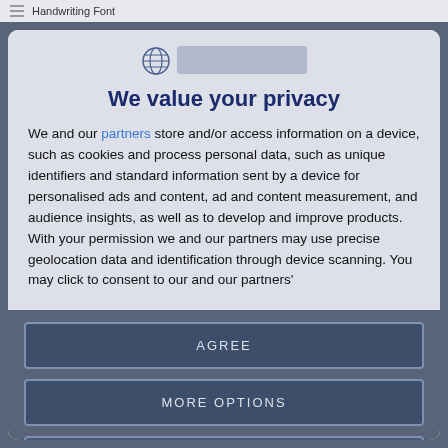Handwriting Font
[Figure (logo): Circular globe logo with blue text bar beside it]
We value your privacy
We and our partners store and/or access information on a device, such as cookies and process personal data, such as unique identifiers and standard information sent by a device for personalised ads and content, ad and content measurement, and audience insights, as well as to develop and improve products. With your permission we and our partners may use precise geolocation data and identification through device scanning. You may click to consent to our and our partners'
AGREE
MORE OPTIONS
DISAGREE